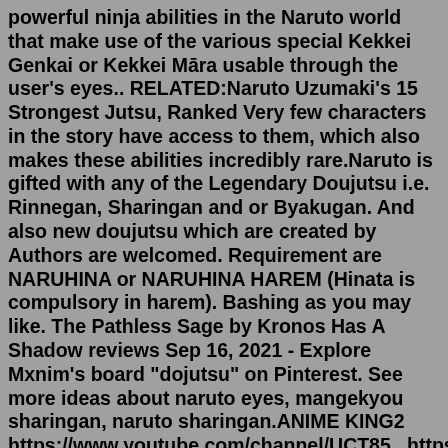powerful ninja abilities in the Naruto world that make use of the various special Kekkei Genkai or Kekkei Māra usable through the user's eyes.. RELATED:Naruto Uzumaki's 15 Strongest Jutsu, Ranked Very few characters in the story have access to them, which also makes these abilities incredibly rare.Naruto is gifted with any of the Legendary Doujutsu i.e. Rinnegan, Sharingan and or Byakugan. And also new doujutsu which are created by Authors are welcomed. Requirement are NARUHINA or NARUHINA HAREM (Hinata is compulsory in harem). Bashing as you may like. The Pathless Sage by Kronos Has A Shadow reviews Sep 16, 2021 - Explore Mxnim's board "dojutsu" on Pinterest. See more ideas about naruto eyes, mangekyou sharingan, naruto sharingan.ANIME KING2 https://www.youtube.com/channel/UCT85...https://www (NOTE: The user must upgrade the system to be able to use Dojutsu in the left and right eyes selectively.) Sharingan (3/3 tomoe) - Effects: Enhances user's genjutsu. Enhances the user's ability to copy what he